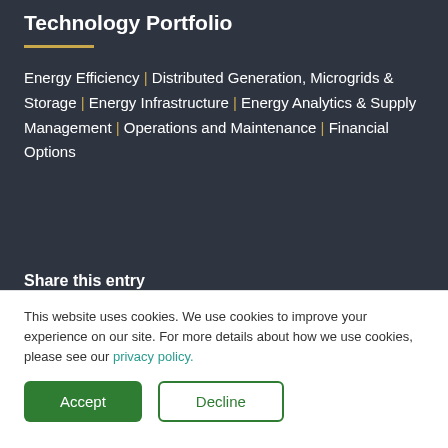Technology Portfolio
Energy Efficiency | Distributed Generation, Microgrids & Storage | Energy Infrastructure | Energy Analytics & Supply Management | Operations and Maintenance | Financial Options
Share this entry
This website uses cookies. We use cookies to improve your experience on our site. For more details about how we use cookies, please see our privacy policy.
Accept  Decline